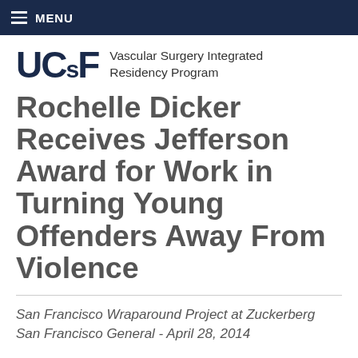≡ MENU
[Figure (logo): UCSF logo with text: Vascular Surgery Integrated Residency Program]
Rochelle Dicker Receives Jefferson Award for Work in Turning Young Offenders Away From Violence
San Francisco Wraparound Project at Zuckerberg San Francisco General - April 28, 2014